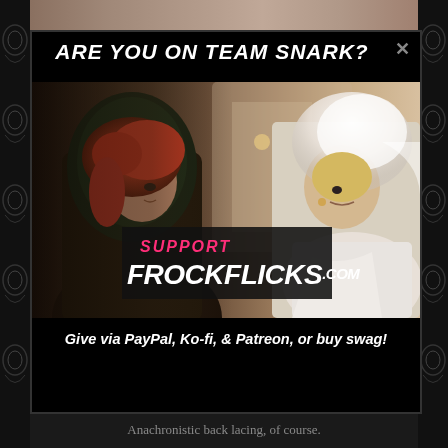[Figure (photo): Top partial photo strip showing period costume scene with muted warm tones]
ARE YOU ON TEAM SNARK?
[Figure (photo): Movie still showing two women in period costumes — one with red hair in dark hooded cloak, one blonde in white veil/headpiece — with overlay text 'SUPPORT FROCKFLICKS.COM']
Give via PayPal, Ko-fi, & Patreon, or buy swag!
[Figure (photo): Bottom partial photo strip showing period costume scene]
Anachronistic back lacing, of course.